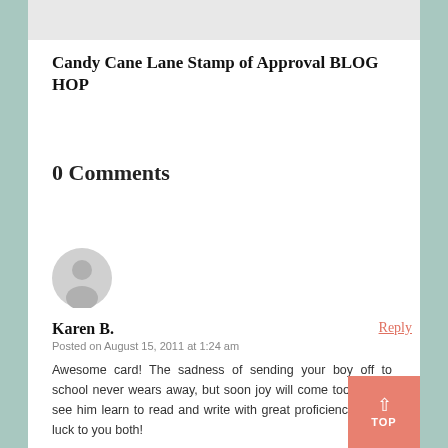Candy Cane Lane Stamp of Approval BLOG HOP
0 Comments
[Figure (illustration): Generic user avatar icon — a grey circle with a silhouette of a person]
Karen B.
Reply
Posted on August 15, 2011 at 1:24 am
Awesome card! The sadness of sending your boy off to school never wears away, but soon joy will come too as you see him learn to read and write with great proficiency. Good luck to you both!